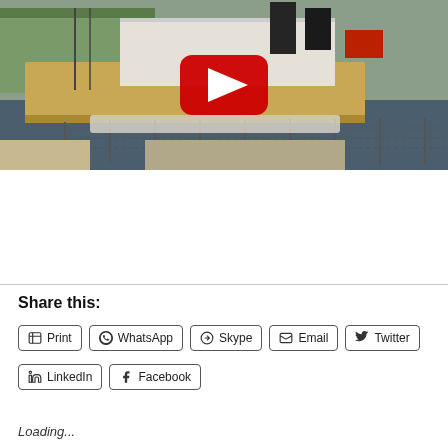[Figure (photo): YouTube video thumbnail showing a river scene with a barge/vessel on water, with a YouTube play button overlay in the center. A chain-link fence is visible in the foreground. The scene appears to show a working boat/pushboat on a river.]
Share this:
Print
WhatsApp
Skype
Email
Twitter
LinkedIn
Facebook
Loading...